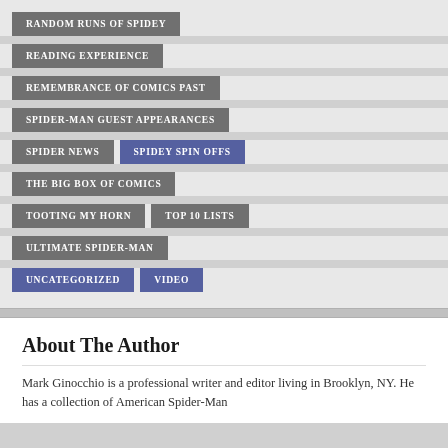RANDOM RUNS OF SPIDEY
READING EXPERIENCE
REMEMBRANCE OF COMICS PAST
SPIDER-MAN GUEST APPEARANCES
SPIDER NEWS
SPIDEY SPIN OFFS
THE BIG BOX OF COMICS
TOOTING MY HORN
TOP 10 LISTS
ULTIMATE SPIDER-MAN
UNCATEGORIZED
VIDEO
About The Author
Mark Ginocchio is a professional writer and editor living in Brooklyn, NY. He has a collection of American Spider-Man